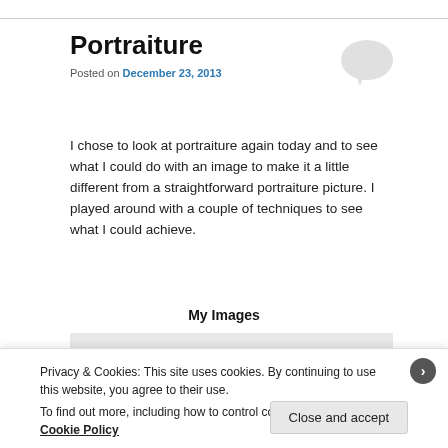Portraiture
Posted on December 23, 2013
I chose to look at portraiture again today and to see what I could do with an image to make it a little different from a straightforward portraiture picture. I played around with a couple of techniques to see what I could achieve.
My Images
[Figure (other): Light gray placeholder image area beneath My Images heading]
Privacy & Cookies: This site uses cookies. By continuing to use this website, you agree to their use.
To find out more, including how to control cookies, see here: Cookie Policy
Close and accept